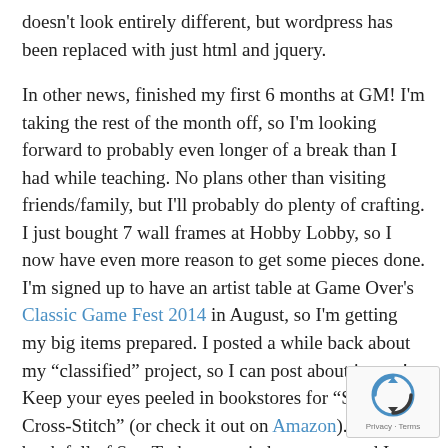doesn't look entirely different, but wordpress has been replaced with just html and jquery.
In other news, finished my first 6 months at GM! I'm taking the rest of the month off, so I'm looking forward to probably even longer of a break than I had while teaching. No plans other than visiting friends/family, but I'll probably do plenty of crafting. I just bought 7 wall frames at Hobby Lobby, so I now have even more reason to get some pieces done. I'm signed up to have an artist table at Game Over's Classic Game Fest 2014 in August, so I'm getting my big items prepared. I posted a while back about my “classified” project, so I can post about it now! Keep your eyes peeled in bookstores for “Star Trek Cross-Stitch” (or check it out on Amazon). It's a book full of Star Trek cross stitch patterns, and I stitched the sampler that is pictured
[Figure (other): reCAPTCHA badge with Privacy and Terms links]